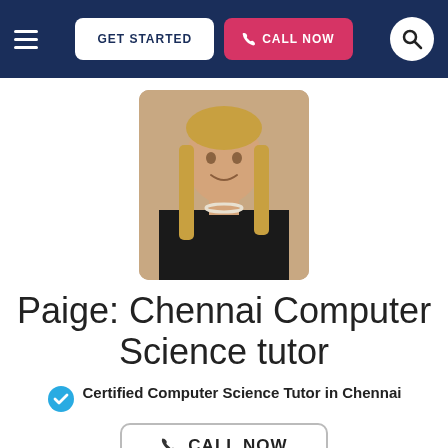GET STARTED | CALL NOW
[Figure (photo): Profile photo of Paige, a young woman with long blonde hair, wearing a black dress and pearl necklace, smiling at the camera.]
Paige: Chennai Computer Science tutor
Certified Computer Science Tutor in Chennai
CALL NOW